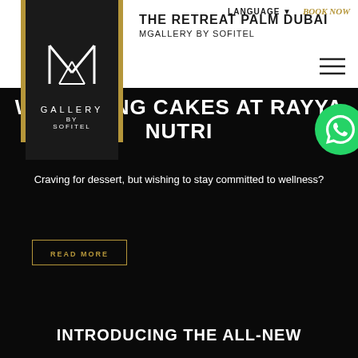[Figure (logo): MGallery by Sofitel M logo in white on dark background]
THE RETREAT PALM DUBAI
MGALLERY BY SOFITEL
LANGUAGE ▼   BOOK NOW
WELLBEING CAKES AT RAYYA NUTRI
Craving for dessert, but wishing to stay committed to wellness?
READ MORE
INTRODUCING THE ALL-NEW